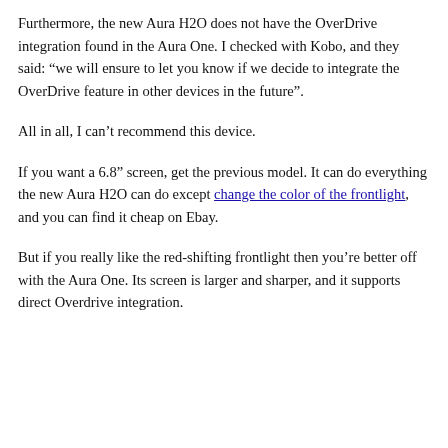screen resolution.)
Furthermore, the new Aura H2O does not have the OverDrive integration found in the Aura One. I checked with Kobo, and they said: “we will ensure to let you know if we decide to integrate the OverDrive feature in other devices in the future”.
All in all, I can’t recommend this device.
If you want a 6.8” screen, get the previous model. It can do everything the new Aura H2O can do except change the color of the frontlight, and you can find it cheap on Ebay.
But if you really like the red-shifting frontlight then you’re better off with the Aura One. Its screen is larger and sharper, and it supports direct Overdrive integration.